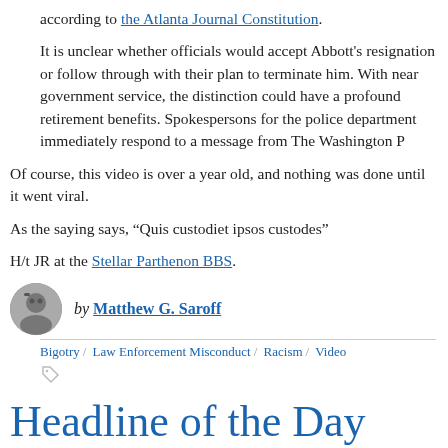according to the Atlanta Journal Constitution.
It is unclear whether officials would accept Abbott's resignation or follow through with their plan to terminate him. With near government service, the distinction could have a profound retirement benefits. Spokespersons for the police department immediately respond to a message from The Washington P
Of course, this video is over a year old, and nothing was done until it went viral.
As the saying says, “Quis custodiet ipsos custodes”
H/t JR at the Stellar Parthenon BBS.
by Matthew G. Saroff
Bigotry / Law Enforcement Misconduct / Racism / Video
Headline of the Day
T